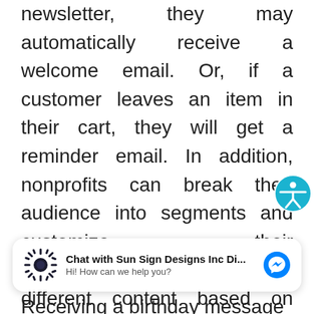newsletter, they may automatically receive a welcome email. Or, if a customer leaves an item in their cart, they will get a reminder email. In addition, nonprofits can break their audience into segments and customize their communications, send out different content based on each subscriber's preferences. Automation means much less time spent on formatting emails and more time spent on improving your nonprofit's service offerings or meeting with clients.
[Figure (other): Chat widget: Sun Sign Designs Inc messenger chat button with logo and Facebook Messenger icon]
Receiving a birthday message or a special